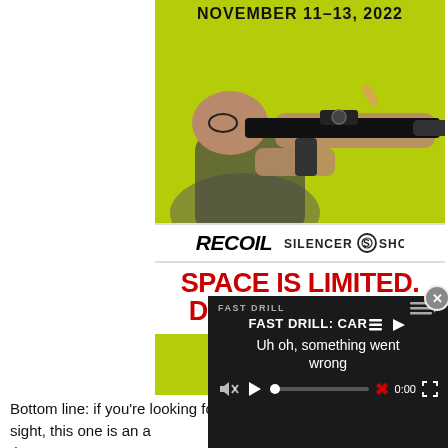[Figure (photo): Advertisement with lime-green background showing a man holding an AR-style rifle with suppressor, text 'NOVEMBER 11-13, 2022' at top, RECOIL and SILENCER SHOP logos in white bar, and red text 'SPACE IS LIMITED. DON'T MISS OUT!' at bottom]
Bottom line: if you're looking for a bore sight, this one is an affordable quality option that's not too...
[Figure (screenshot): Video player overlay showing 'FAST DRILL: CAR' title, error message 'Uh oh, something went wrong', video controls with play button, progress bar, X mark, 0:00 timestamp, and fullscreen icon. Dark background.]